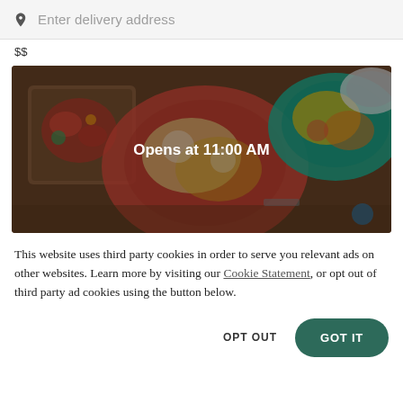Enter delivery address
$$
[Figure (photo): Overhead photo of Mexican food dishes on a table, with a semi-transparent dark overlay and white text 'Opens at 11:00 AM' centered on the image.]
This website uses third party cookies in order to serve you relevant ads on other websites. Learn more by visiting our Cookie Statement, or opt out of third party ad cookies using the button below.
OPT OUT
GOT IT